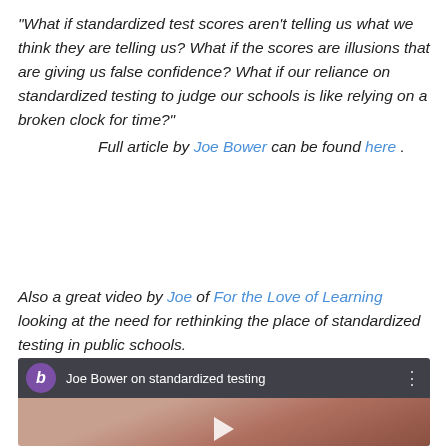“What if standardized test scores aren’t telling us what we think they are telling us? What if the scores are illusions that are giving us false confidence? What if our reliance on standardized testing to judge our schools is like relying on a broken clock for time?”
Full article by Joe Bower can be found here .
Also a great video by Joe of For the Love of Learning looking at the need for rethinking the place of standardized testing in public schools.
[Figure (screenshot): Video thumbnail showing a man’s face on the left and a colorful map on the right, with a dark top bar showing a purple ‘b’ icon and the title ‘Joe Bower on standardized testing’]